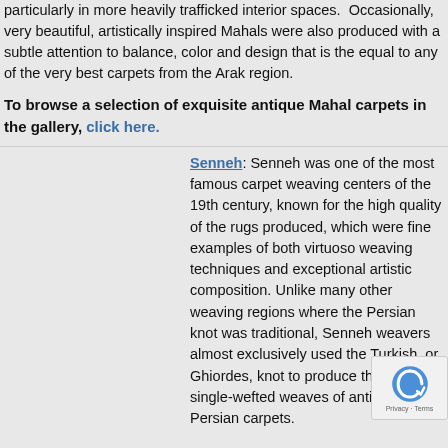particularly in more heavily trafficked interior spaces.  Occasionally, very beautiful, artistically inspired Mahals were also produced with a subtle attention to balance, color and design that is the equal to any of the very best carpets from the Arak region.
To browse a selection of exquisite antique Mahal carpets in the gallery, click here.
Senneh: Senneh was one of the most famous carpet weaving centers of the 19th century, known for the high quality of the rugs produced, which were fine examples of both virtuoso weaving techniques and exceptional artistic composition. Unlike many other weaving regions where the Persian knot was traditional, Senneh weavers almost exclusively used the Turkish, or Ghiordes, knot to produce the finest single-wefted weaves of antique Persian carpets.
Senneh